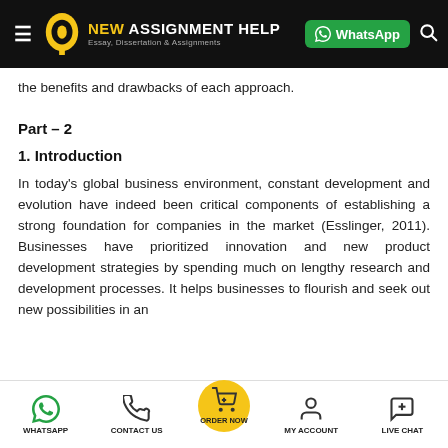NEW ASSIGNMENT HELP — Essay, Dissertation & Assignments | WhatsApp
the benefits and drawbacks of each approach.
Part – 2
1. Introduction
In today's global business environment, constant development and evolution have indeed been critical components of establishing a strong foundation for companies in the market (Esslinger, 2011). Businesses have prioritized innovation and new product development strategies by spending much on lengthy research and development processes. It helps businesses to flourish and seek out new possibilities in an
WHATSAPP   CONTACT US   ORDER NOW   MY ACCOUNT   LIVE CHAT